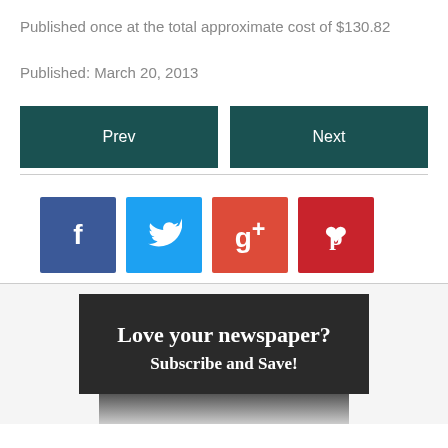Published once at the total approximate cost of $130.82
Published: March 20, 2013
[Figure (other): Navigation buttons: Prev and Next, dark teal background]
[Figure (other): Social share icons: Facebook (f), Twitter (bird), Google+ (g+), Pinterest (p)]
[Figure (other): Advertisement banner with dark background reading 'Love your newspaper? Subscribe and Save!']